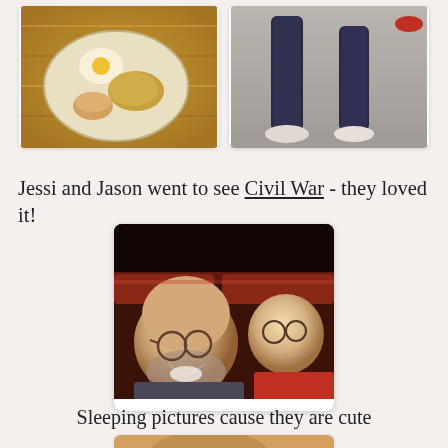[Figure (photo): Two photos side by side: left shows a plate of food (eggs, potatoes, biscuit) on a colorful tablecloth; right shows two people's legs/feet standing on carpet]
Jessi and Jason went to see Civil War - they loved it!
[Figure (photo): Two people (a bald man with glasses and beard, and a younger person in a red shirt with glasses) smiling in movie theater recliner seats]
Sleeping pictures cause they are cute
[Figure (photo): Partial view of a person sleeping, cut off at bottom of page]